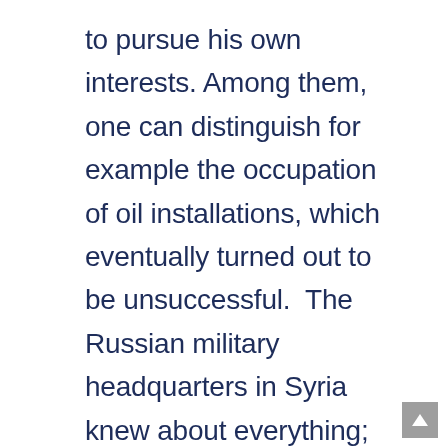to pursue his own interests. Among them, one can distinguish for example the occupation of oil installations, which eventually turned out to be unsuccessful.  The Russian military headquarters in Syria knew about everything; similarly; it could realise that the Americans aimed to destroy the column of mercenaries. However, the Russians did not provide any help; it did not warn about the